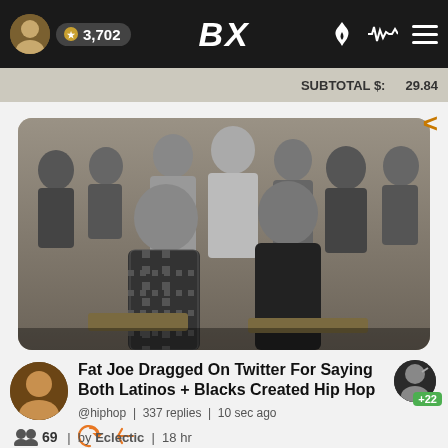BX | 3,702
SUBTOTAL $: 29.84
[Figure (photo): Black and white group photo of hip hop artists including Fat Joe and others at what appears to be an event or photoshoot]
Fat Joe Dragged On Twitter For Saying Both Latinos + Blacks Created Hip Hop
@hiphop | 337 replies | 10 sec ago
69 | by Eclectic | 18 hr